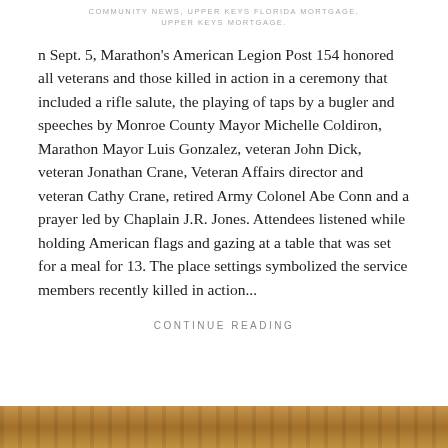COMMUNITY NEWS, UPPER KEYS FLORIDA MORTGAGE, UPPER KEYS MORTGAGE.
n Sept. 5, Marathon's American Legion Post 154 honored all veterans and those killed in action in a ceremony that included a rifle salute, the playing of taps by a bugler and speeches by Monroe County Mayor Michelle Coldiron, Marathon Mayor Luis Gonzalez, veteran John Dick, veteran Jonathan Crane, Veteran Affairs director and veteran Cathy Crane, retired Army Colonel Abe Conn and a prayer led by Chaplain J.R. Jones. Attendees listened while holding American flags and gazing at a table that was set for a meal for 13. The place settings symbolized the service members recently killed in action...
CONTINUE READING
[Figure (photo): Bottom portion of an image showing decorative tiles or stonework in warm brown and teal tones]